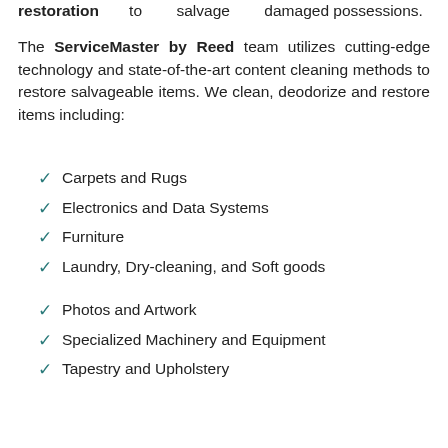restoration to salvage damaged possessions.
The ServiceMaster by Reed team utilizes cutting-edge technology and state-of-the-art content cleaning methods to restore salvageable items. We clean, deodorize and restore items including:
Carpets and Rugs
Electronics and Data Systems
Furniture
Laundry, Dry-cleaning, and Soft goods
Photos and Artwork
Specialized Machinery and Equipment
Tapestry and Upholstery